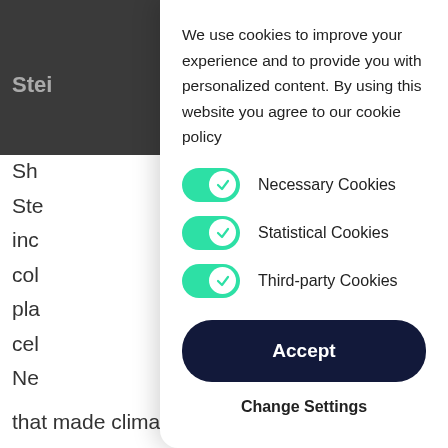We use cookies to improve your experience and to provide you with personalized content. By using this website you agree to our cookie policy
Necessary Cookies (toggle on)
Statistical Cookies (toggle on)
Third-party Cookies (toggle on)
Accept
Change Settings